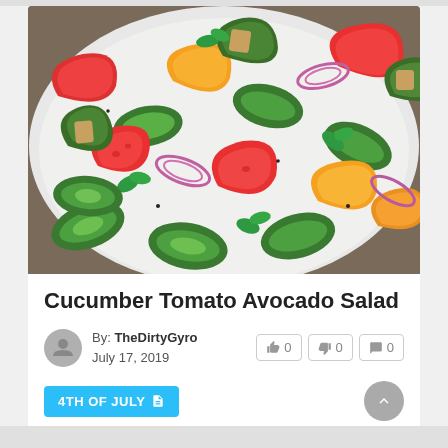[Figure (photo): Close-up photo of a colorful salad in a white bowl, featuring sliced cucumbers, red and orange tomatoes, avocado chunks, red onion rings, and fresh herbs (mint/basil), on a wooden surface.]
Cucumber Tomato Avocado Salad
By: TheDirtyGyro
July 17, 2019
👍 0  👎 0  💬 0
4TH OF JULY